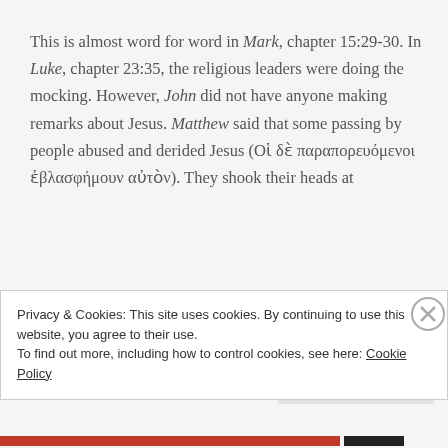This is almost word for word in Mark, chapter 15:29-30. In Luke, chapter 23:35, the religious leaders were doing the mocking. However, John did not have anyone making remarks about Jesus. Matthew said that some passing by people abused and derided Jesus (Οἱ δὲ παραπορευόμενοι ἐβλασφήμουν αὐτὸν). They shook their heads at
Privacy & Cookies: This site uses cookies. By continuing to use this website, you agree to their use.
To find out more, including how to control cookies, see here: Cookie Policy